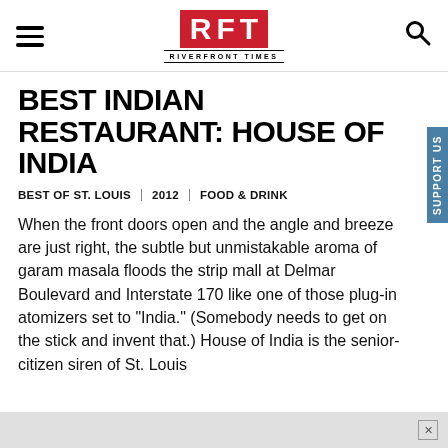RFT RIVERFRONT TIMES
BEST INDIAN RESTAURANT: HOUSE OF INDIA
BEST OF ST. LOUIS | 2012 | FOOD & DRINK
When the front doors open and the angle and breeze are just right, the subtle but unmistakable aroma of garam masala floods the strip mall at Delmar Boulevard and Interstate 170 like one of those plug-in atomizers set to "India." (Somebody needs to get on the stick and invent that.) House of India is the senior-citizen siren of St. Louis